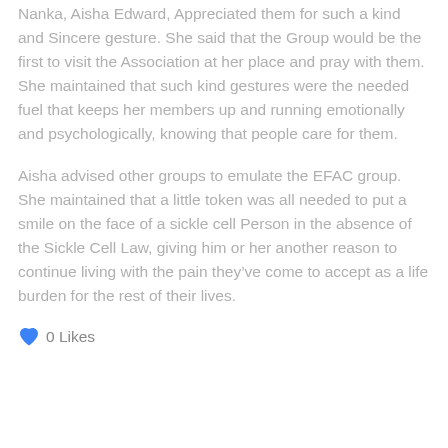Nanka, Aisha Edward, Appreciated them for such a kind and Sincere gesture. She said that the Group would be the first to visit the Association at her place and pray with them. She maintained that such kind gestures were the needed fuel that keeps her members up and running emotionally and psychologically, knowing that people care for them.
Aisha advised other groups to emulate the EFAC group. She maintained that a little token was all needed to put a smile on the face of a sickle cell Person in the absence of the Sickle Cell Law, giving him or her another reason to continue living with the pain they’ve come to accept as a life burden for the rest of their lives.
0 Likes